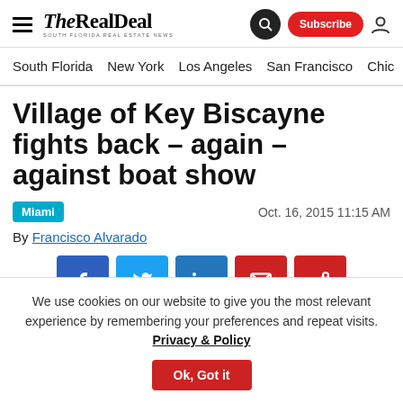THE REAL DEAL — SOUTH FLORIDA REAL ESTATE NEWS
South Florida | New York | Los Angeles | San Francisco | Chic
Village of Key Biscayne fights back – again – against boat show
Miami  Oct. 16, 2015 11:15 AM
By Francisco Alvarado
[Figure (infographic): Social share buttons: Facebook, Twitter, LinkedIn, Email, Share]
We use cookies on our website to give you the most relevant experience by remembering your preferences and repeat visits. Privacy & Policy   Ok, Got it